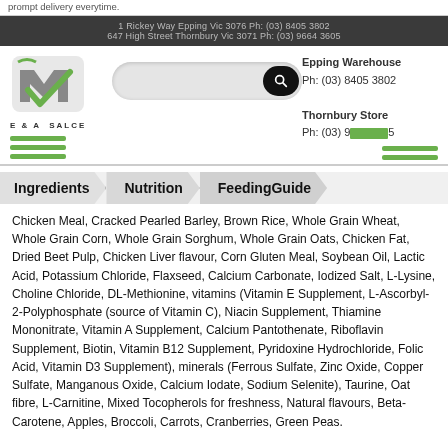prompt delivery everytime.
1 Rickey Way Epping Vic 3076 Ph: (03) 8405 3802
647 High Street Thornbury Vic 3071 Ph: (03) 9664 3605
[Figure (logo): E & A Salce logo with stylized M and checkmark, green and grey colors]
[Figure (screenshot): Search bar pill shape with black search button on the right]
Epping Warehouse
Ph: (03) 8405 3802
Thornbury Store
Ph: (03) 9[redacted]5
Ingredients | Nutrition | FeedingGuide
Chicken Meal, Cracked Pearled Barley, Brown Rice, Whole Grain Wheat, Whole Grain Corn, Whole Grain Sorghum, Whole Grain Oats, Chicken Fat, Dried Beet Pulp, Chicken Liver flavour, Corn Gluten Meal, Soybean Oil, Lactic Acid, Potassium Chloride, Flaxseed, Calcium Carbonate, Iodized Salt, L-Lysine, Choline Chloride, DL-Methionine, vitamins (Vitamin E Supplement, L-Ascorbyl-2-Polyphosphate (source of Vitamin C), Niacin Supplement, Thiamine Mononitrate, Vitamin A Supplement, Calcium Pantothenate, Riboflavin Supplement, Biotin, Vitamin B12 Supplement, Pyridoxine Hydrochloride, Folic Acid, Vitamin D3 Supplement), minerals (Ferrous Sulfate, Zinc Oxide, Copper Sulfate, Manganous Oxide, Calcium Iodate, Sodium Selenite), Taurine, Oat fibre, L-Carnitine, Mixed Tocopherols for freshness, Natural flavours, Beta-Carotene, Apples, Broccoli, Carrots, Cranberries, Green Peas.